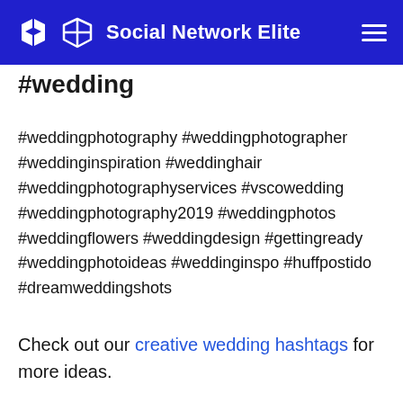Social Network Elite
#wedding
#weddingphotography #weddingphotographer #weddinginspiration #weddinghair #weddingphotographyservices #vscowedding #weddingphotography2019 #weddingphotos #weddingflowers #weddingdesign #gettingready #weddingphotoideas #weddinginspo #huffpostido #dreamweddingshots
Check out our creative wedding hashtags for more ideas.